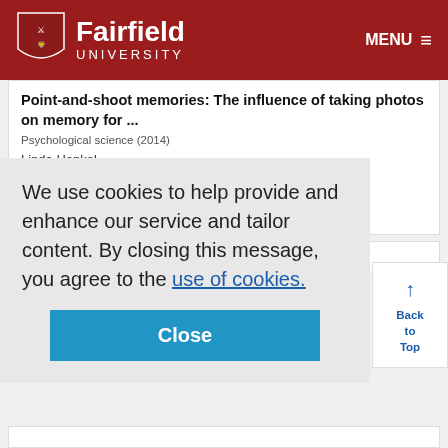Fairfield University — MENU
Point-and-shoot memories: The influence of taking photos on memory for ...
Psychological science (2014)
Linda Henkel
🔗 Link
Article
We use cookies to help provide and enhance our service and tailor content. By closing this message, you agree to the use of cookies.
Close
↑ Back to Top